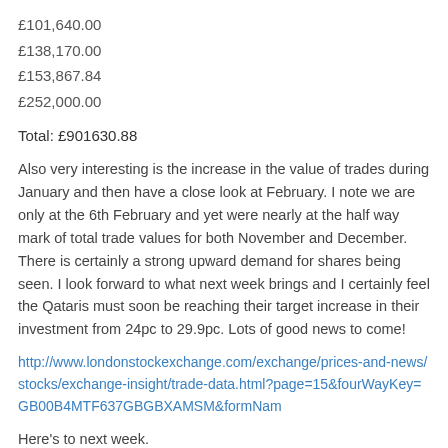£101,640.00
£138,170.00
£153,867.84
£252,000.00
Total: £901630.88
Also very interesting is the increase in the value of trades during January and then have a close look at February. I note we are only at the 6th February and yet were nearly at the half way mark of total trade values for both November and December. There is certainly a strong upward demand for shares being seen. I look forward to what next week brings and I certainly feel the Qataris must soon be reaching their target increase in their investment from 24pc to 29.9pc. Lots of good news to come!
http://www.londonstockexchange.com/exchange/prices-and-news/stocks/exchange-insight/trade-data.html?page=15&fourWayKey=GB00B4MTF637GBGBXAMSM&formNam
Here's to next week.